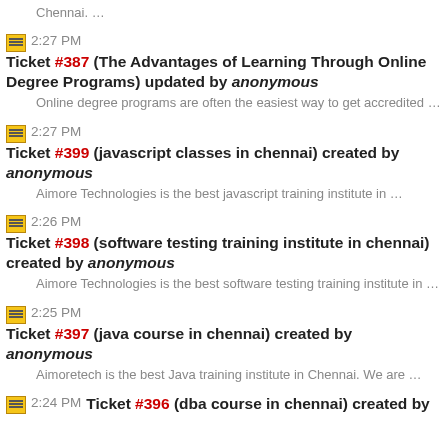Chennai. …
2:27 PM Ticket #387 (The Advantages of Learning Through Online Degree Programs) updated by anonymous
Online degree programs are often the easiest way to get accredited …
2:27 PM Ticket #399 (javascript classes in chennai) created by anonymous
Aimore Technologies is the best javascript training institute in …
2:26 PM Ticket #398 (software testing training institute in chennai) created by anonymous
Aimore Technologies is the best software testing training institute in …
2:25 PM Ticket #397 (java course in chennai) created by anonymous
Aimoretech is the best Java training institute in Chennai. We are …
2:24 PM Ticket #396 (dba course in chennai) created by